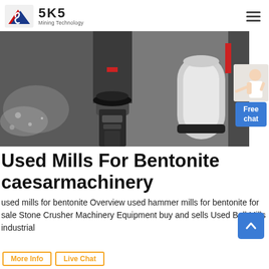SKS Mining Technology
[Figure (photo): Close-up industrial photo of mining mill machinery components — metal shafts, cylindrical parts, with water/fluid spray visible on the left side. Dark metallic tones with a white cylindrical component on the right.]
Used Mills For Bentonite caesarmachinery
used mills for bentonite Overview used hammer mills for bentonite for sale Stone Crusher Machinery Equipment buy and sells Used Ball Mills industrial